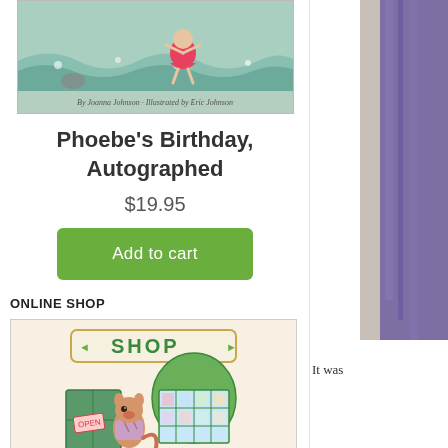[Figure (illustration): Book cover illustration showing a small character in a red dress running through waves, with text 'By Joanna Johnson · Illustrated by Eric Johnson']
Phoebe's Birthday, Autographed
$19.95
Add to cart
ONLINE SHOP
[Figure (illustration): Illustration of a children's book shop storefront with a sign reading 'SHOP', green awning, and a chipmunk character holding an 'OPEN' sign]
It was